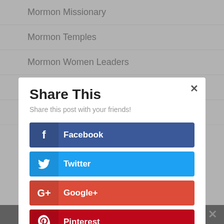Mormon Missionary
Mormon Temples
Mormon Women Leaders
Past Leader Bios
Share This
Share this post with your friends!
Facebook
Twitter
Google+
Pinterest